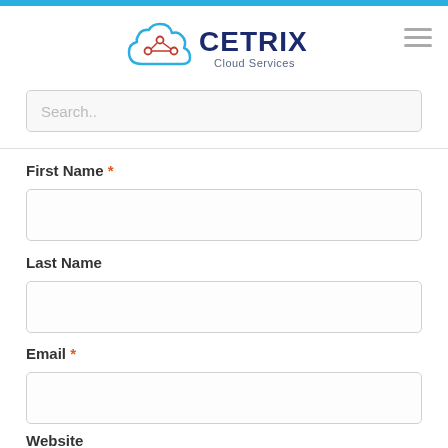[Figure (logo): Cetrix Cloud Services logo with cloud icon and network nodes, blue and dark navy text]
Search..
First Name *
Last Name
Email *
Website